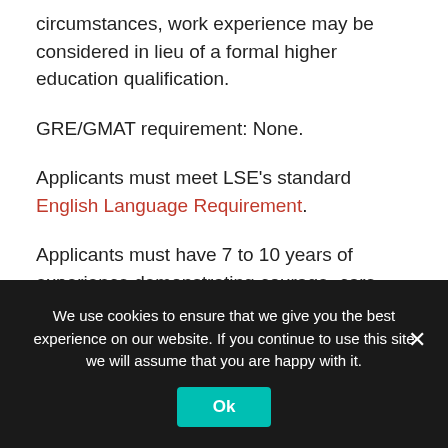circumstances, work experience may be considered in lieu of a formal higher education qualification.
GRE/GMAT requirement: None.
Applicants must meet LSE's standard English Language Requirement.
Applicants must have 7 to 10 years of experience demonstrating courage, care, leadership and commitment in advancing equitable solutions to inequality.
We use cookies to ensure that we give you the best experience on our website. If you continue to use this site we will assume that you are happy with it.